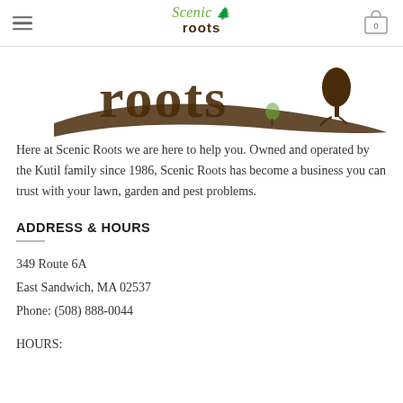Scenic Roots — navigation header with hamburger menu and cart icon showing 0
[Figure (logo): Scenic Roots logo banner showing large brown stylized 'roots' text with a tree silhouette on a curved brown road/path, in partial view]
Here at Scenic Roots we are here to help you. Owned and operated by the Kutil family since 1986, Scenic Roots has become a business you can trust with your lawn, garden and pest problems.
ADDRESS & HOURS
349 Route 6A
East Sandwich, MA 02537
Phone: (508) 888-0044
HOURS: